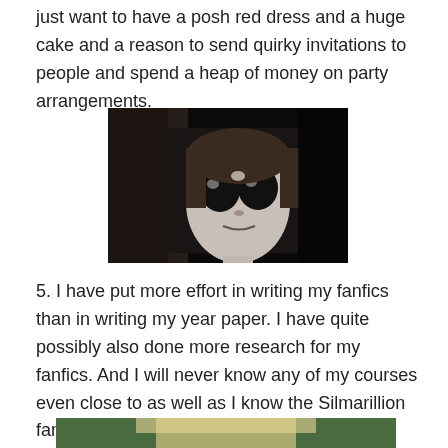just want to have a posh red dress and a huge cake and a reason to send quirky invitations to people and spend a heap of money on party arrangements.
[Figure (photo): Black and white image of an animated character (Coraline-style doll) with large dark eyes and pale face, looking upward against a dark background.]
5. I have put more effort in writing my fanfics than in writing my year paper. I have quite possibly also done more research for my fanfics. And I will never know any of my courses even close to as well as I know the Silmarillion family trees.
[Figure (photo): Partially visible color photo of a person with blonde hair against a green background, cropped at the bottom of the page.]